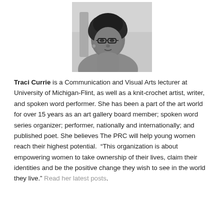[Figure (photo): Black and white portrait photo of Traci Currie, a woman wearing glasses, with natural hair, resting her chin on her hand and looking to the side.]
Traci Currie is a Communication and Visual Arts lecturer at University of Michigan-Flint, as well as a knit-crochet artist, writer, and spoken word performer. She has been a part of the art world for over 15 years as an art gallery board member; spoken word series organizer; performer, nationally and internationally; and published poet. She believes The PRC will help young women reach their highest potential.  “This organization is about empowering women to take ownership of their lives, claim their identities and be the positive change they wish to see in the world they live.” Read her latest posts.